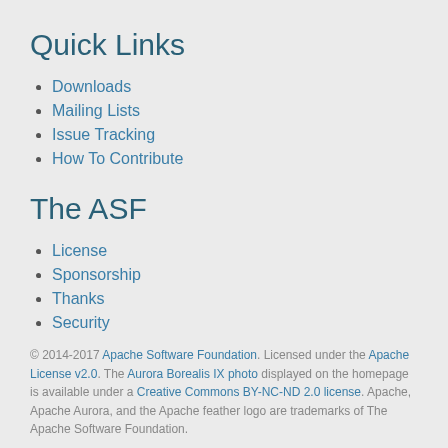Quick Links
Downloads
Mailing Lists
Issue Tracking
How To Contribute
The ASF
License
Sponsorship
Thanks
Security
© 2014-2017 Apache Software Foundation. Licensed under the Apache License v2.0. The Aurora Borealis IX photo displayed on the homepage is available under a Creative Commons BY-NC-ND 2.0 license. Apache, Apache Aurora, and the Apache feather logo are trademarks of The Apache Software Foundation.